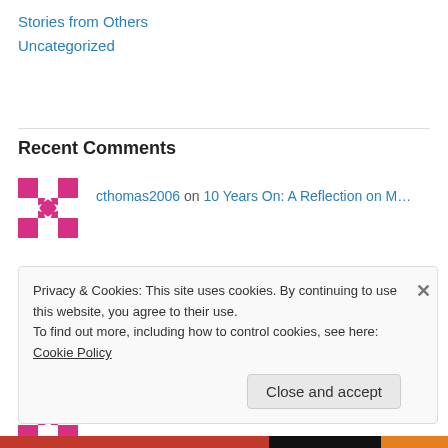Stories from Others
Uncategorized
Recent Comments
cthomas2006 on 10 Years On: A Reflection on M…
Lola on 10 Years On: A Reflection on M…
cthomas2006 on 10 Years On: A Reflection on M…
Privacy & Cookies: This site uses cookies. By continuing to use this website, you agree to their use.
To find out more, including how to control cookies, see here: Cookie Policy